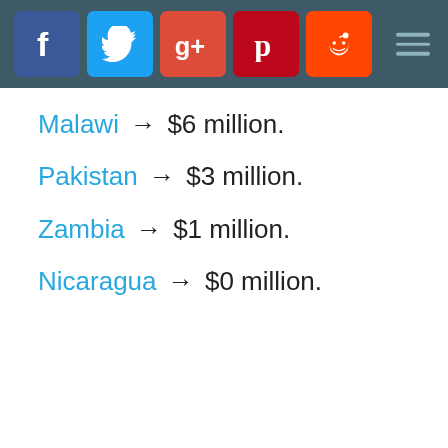Social media share bar with Facebook, Twitter, Google+, Pinterest, Reddit icons
Malawi → $6 million.
Pakistan → $3 million.
Zambia → $1 million.
Nicaragua → $0 million.